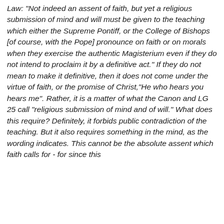Law: "Not indeed an assent of faith, but yet a religious submission of mind and will must be given to the teaching which either the Supreme Pontiff, or the College of Bishops [of course, with the Pope] pronounce on faith or on morals when they exercise the authentic Magisterium even if they do not intend to proclaim it by a definitive act." If they do not mean to make it definitive, then it does not come under the virtue of faith, or the promise of Christ,"He who hears you hears me". Rather, it is a matter of what the Canon and LG 25 call "religious submission of mind and of will." What does this require? Definitely, it forbids public contradiction of the teaching. But it also requires something in the mind, as the wording indicates. This cannot be the absolute assent which faith calls for - for since this